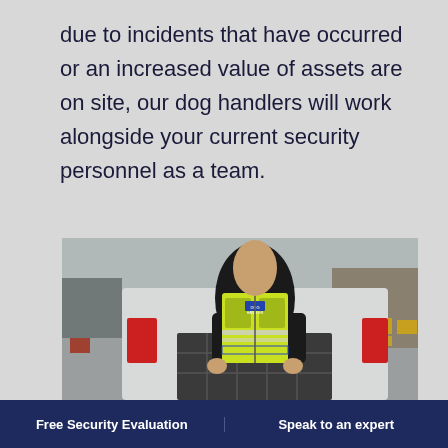due to incidents that have occurred or an increased value of assets are on site, our dog handlers will work alongside your current security personnel as a team.
[Figure (photo): A security dog handler wearing a high-visibility yellow tactical vest with 'DOG HANDLER' badge, standing at the open rear of a white security vehicle in an industrial/port area.]
Free Security Evaluation   Speak to an expert